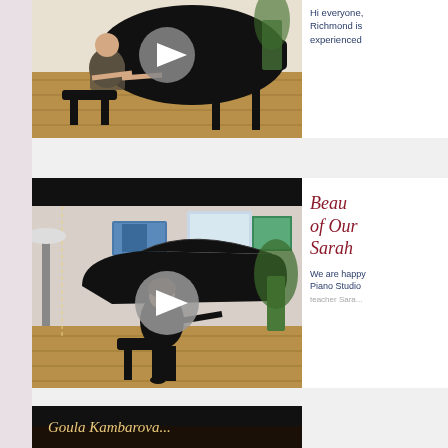[Figure (screenshot): Video thumbnail of a person playing a grand piano in a music studio, with a play button overlay. Part of a piano teacher listing card.]
Hi everyone, Richmond is experienced
[Figure (screenshot): Video thumbnail of a woman in black playing a grand piano in a decorated room with artwork on walls, with a play button overlay.]
Beau of Our Sarah We are happy Piano Studio teacher Sara...
[Figure (screenshot): Partial view of a third video card with cursive gold text reading 'Goula Kambarova' on a dark background.]